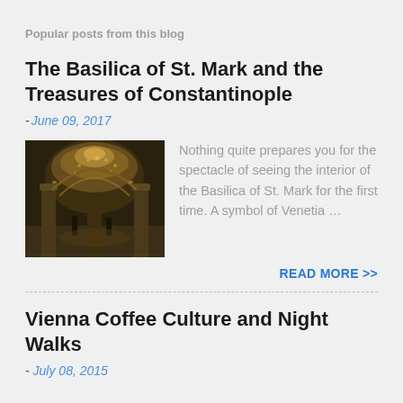Popular posts from this blog
The Basilica of St. Mark and the Treasures of Constantinople
- June 09, 2017
[Figure (photo): Interior of the Basilica of St. Mark, showing ornate golden ceiling and arched columns in dim lighting]
Nothing quite prepares you for the spectacle of seeing the interior of the Basilica of St. Mark for the first time. A symbol of Venetia …
READ MORE >>
Vienna Coffee Culture and Night Walks
- July 08, 2015